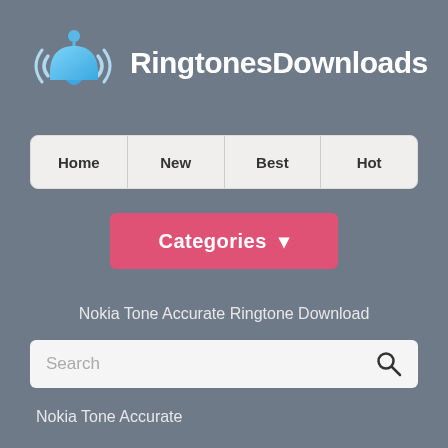[Figure (logo): RingtonesDownloads logo with blue bell icon and white bold text]
[Figure (screenshot): Navigation bar with Home, New, Best, Hot menu items on light gray background]
[Figure (screenshot): Pink/red Categories dropdown button with down arrow]
Nokia Tone Accurate Ringtone Download
[Figure (screenshot): Search input box with placeholder text Search and magnifying glass icon]
Nokia Tone Accurate